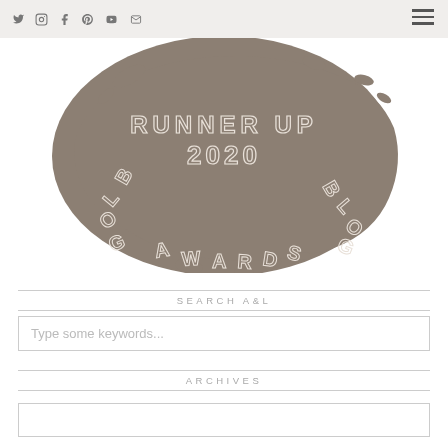Navigation bar with social icons and hamburger menu
[Figure (illustration): Blog Awards 2020 Runner Up badge: large circular brushstroke shape in taupe/brown with outlined white text reading RUNNER UP 2020 in the center and BLOG AWARDS arranged around the perimeter]
SEARCH A&L
Type some keywords...
ARCHIVES